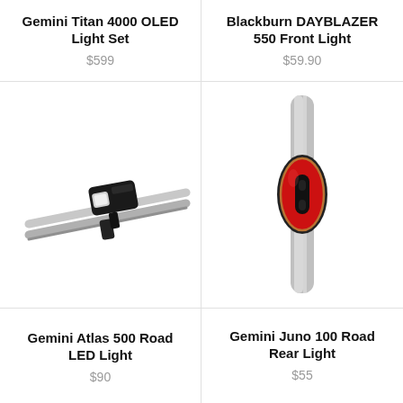Gemini Titan 4000 OLED Light Set
$599
Blackburn DAYBLAZER 550 Front Light
$59.90
[Figure (photo): Gemini Atlas 500 Road LED Light mounted on bicycle handlebars, angled view showing the black rectangular light unit on silver handlebar tubes]
[Figure (photo): Gemini Juno 100 Road Rear Light attached to a seatpost, showing a red oval-shaped rear light with black mounting bracket on silver post]
Gemini Atlas 500 Road LED Light
$90
Gemini Juno 100 Road Rear Light
$55